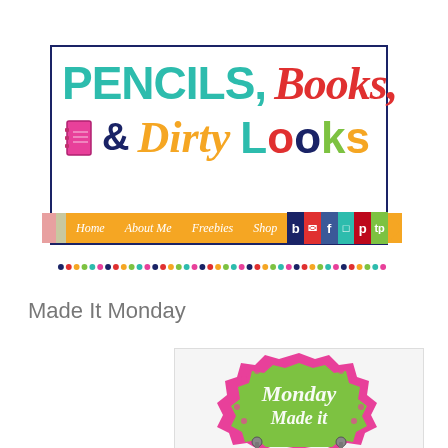[Figure (logo): Pencils, Books, & Dirty Looks blog logo with colorful text and navigation bar shaped like a pencil]
Made It Monday
[Figure (illustration): Monday Made It badge with pink and green decorative frame, chalk-style text reading 'Monday Made it']